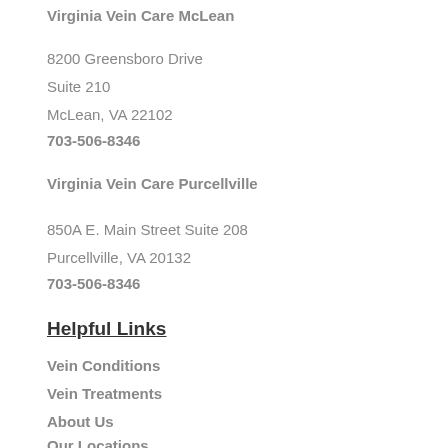Virginia Vein Care McLean
8200 Greensboro Drive
Suite 210
McLean, VA 22102
703-506-8346
Virginia Vein Care Purcellville
850A E. Main Street Suite 208
Purcellville, VA 20132
703-506-8346
Helpful Links
Vein Conditions
Vein Treatments
About Us
Our Locations